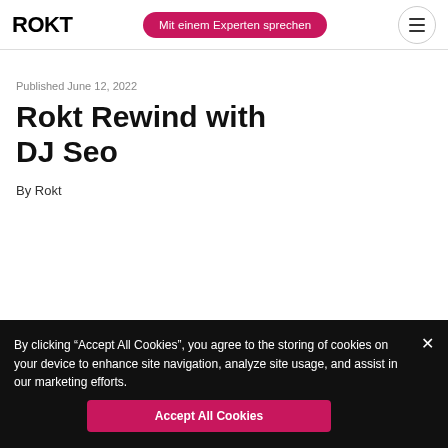ROKT | Mit einem Experten sprechen
Published June 12, 2022
Rokt Rewind with DJ Seo
By Rokt
By clicking “Accept All Cookies”, you agree to the storing of cookies on your device to enhance site navigation, analyze site usage, and assist in our marketing efforts.